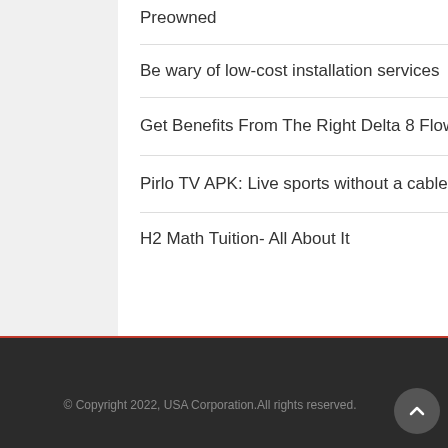Preowned
Be wary of low-cost installation services
Get Benefits From The Right Delta 8 Flower
Pirlo TV APK: Live sports without a cable subscription
H2 Math Tuition- All About It
© Copyright 2022, USA Corporation.All rights reserved.